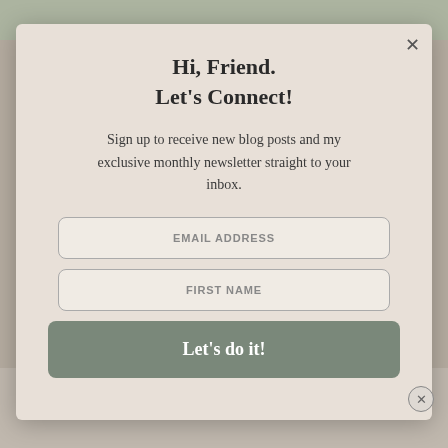Hi, Friend. Let's Connect!
Sign up to receive new blog posts and my exclusive monthly newsletter straight to your inbox.
EMAIL ADDRESS
FIRST NAME
Let's do it!